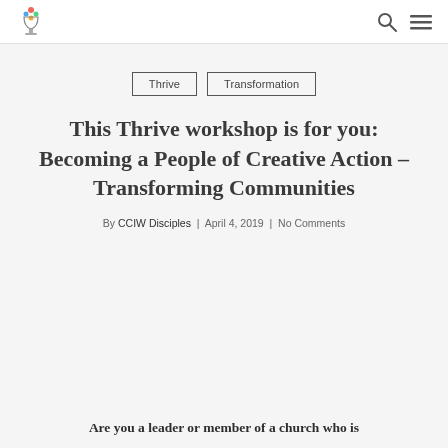[Logo] CCIW Disciples | [search icon] [menu icon]
Thrive
Transformation
This Thrive workshop is for you: Becoming a People of Creative Action – Transforming Communities
By CCIW Disciples | April 4, 2019 | No Comments
Are you a leader or member of a church who is